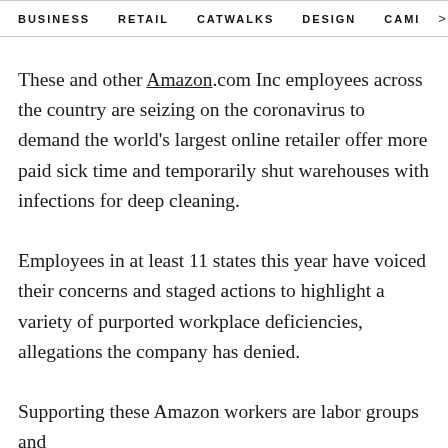BUSINESS   RETAIL   CATWALKS   DESIGN   CAMI  >
These and other Amazon.com Inc employees across the country are seizing on the coronavirus to demand the world's largest online retailer offer more paid sick time and temporarily shut warehouses with infections for deep cleaning.
Employees in at least 11 states this year have voiced their concerns and staged actions to highlight a variety of purported workplace deficiencies, allegations the company has denied.
Supporting these Amazon workers are labor groups and